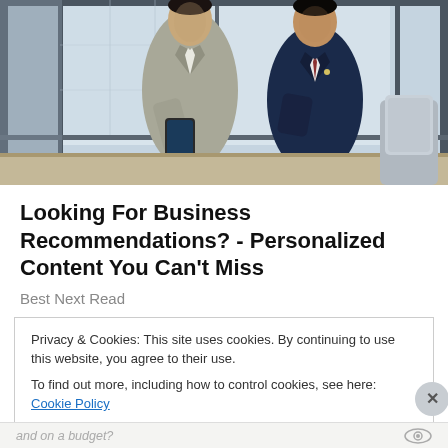[Figure (photo): Two businessmen in an office setting, one in a grey suit and one in a navy suit, looking at a smartphone together. A conference table and chair are visible in the background with large windows.]
Looking For Business Recommendations? - Personalized Content You Can't Miss
Best Next Read
Privacy & Cookies: This site uses cookies. By continuing to use this website, you agree to their use.
To find out more, including how to control cookies, see here: Cookie Policy
Close and accept
and on a budget?